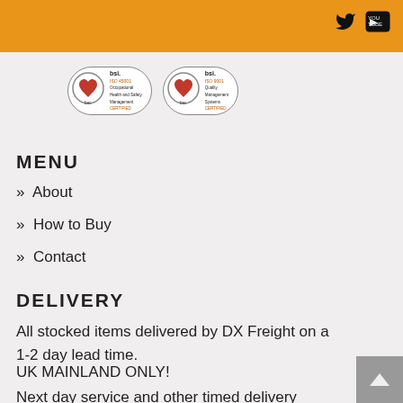[Figure (logo): BSI ISO 45001 Occupational Health and Safety Management Certified badge]
[Figure (logo): BSI ISO 9001 Quality Management Systems Certified badge]
MENU
» About
» How to Buy
» Contact
DELIVERY
All stocked items delivered by DX Freight on a 1-2 day lead time.
UK MAINLAND ONLY!
Next day service and other timed delivery